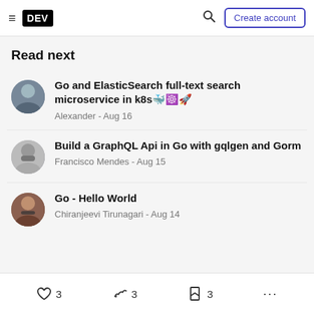DEV — Create account
Read next
Go and ElasticSearch full-text search microservice in k8s🐳☸️🚀 — Alexander - Aug 16
Build a GraphQL Api in Go with gqlgen and Gorm — Francisco Mendes - Aug 15
Go - Hello World — Chiranjeevi Tirunagari - Aug 14
3  3  3  ...